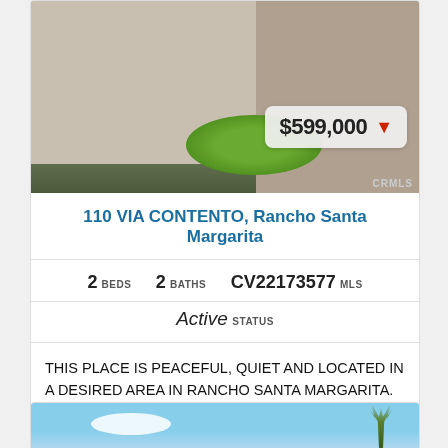[Figure (photo): Exterior photo of a residential building with stucco walls and green shrubs, showing a building facade and landscaping. Price badge overlay showing $599,000 with red down arrow. CRMLS watermark in bottom right corner.]
110 VIA CONTENTO, Rancho Santa Margarita
2 BEDS   2 BATHS   CV22173577 MLS
Active STATUS
THIS PLACE IS PEACEFUL, QUIET AND LOCATED IN A DESIRED AREA IN RANCHO SANTA MARGARITA. IT IS LOCATED A BLOCK AWAY FROM THE PARK. THERE IS AN AREA DESIGNATED FOR THE DOG...
[Figure (photo): Partial view of a second property listing showing blue sky with white clouds and a palm tree silhouette.]